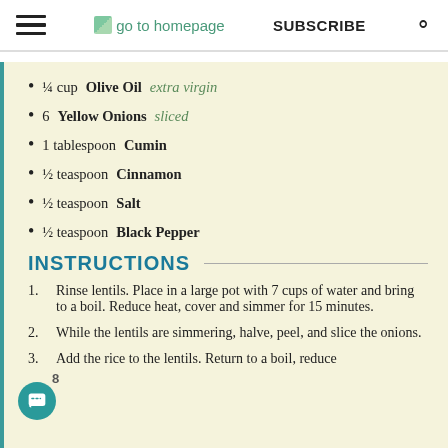go to homepage | SUBSCRIBE | [search]
¼ cup Olive Oil extra virgin
6 Yellow Onions sliced
1 tablespoon Cumin
½ teaspoon Cinnamon
½ teaspoon Salt
½ teaspoon Black Pepper
INSTRUCTIONS
1. Rinse lentils. Place in a large pot with 7 cups of water and bring to a boil. Reduce heat, cover and simmer for 15 minutes.
2. While the lentils are simmering, halve, peel, and slice the onions.
3. Add the rice to the lentils. Return to a boil, reduce heat, cover and simmer for an additional 15…